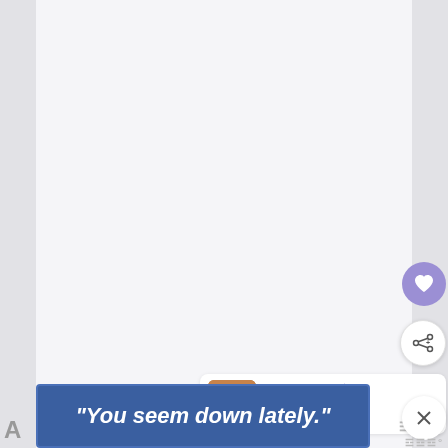[Figure (screenshot): App UI screenshot showing a mostly white/light gray content area with left and right sidebar strips, a purple heart/favorite button, a white share button with plus icon, a 'What's Next' panel showing a food thumbnail with text 'How to Make Homemade...', a whisk logo icon, a close X button, and a blue advertisement banner at the bottom reading '"You seem down lately."']
WHAT'S NEXT → How to Make Homemade...
"You seem down lately."